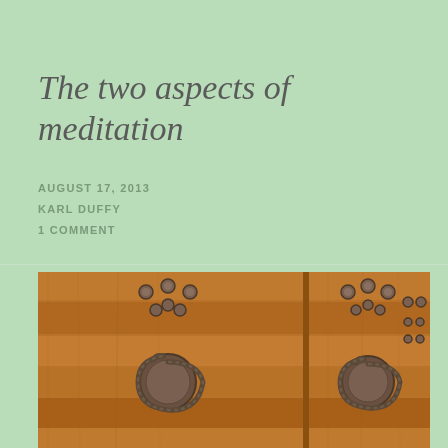The two aspects of meditation
AUGUST 17, 2013
KARL DUFFY
1 COMMENT
[Figure (photo): Close-up photograph of an old wooden door with two ornate iron door knockers/handles with spiral rope-like designs, decorated with round iron studs on warm brown wood planks]